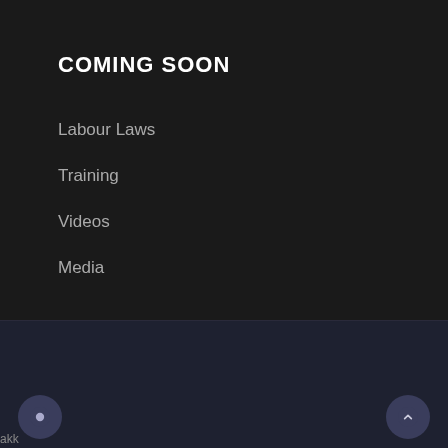COMING SOON
Labour Laws
Training
Videos
Media
© 2021 | HRTales - All Rights Reserved. | Powered by Deven Infotech
akk